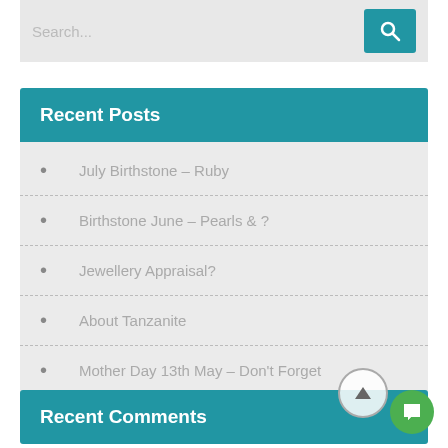Search...
Recent Posts
July Birthstone – Ruby
Birthstone June – Pearls & ?
Jewellery Appraisal?
About Tanzanite
Mother Day 13th May – Don't Forget
Recent Comments